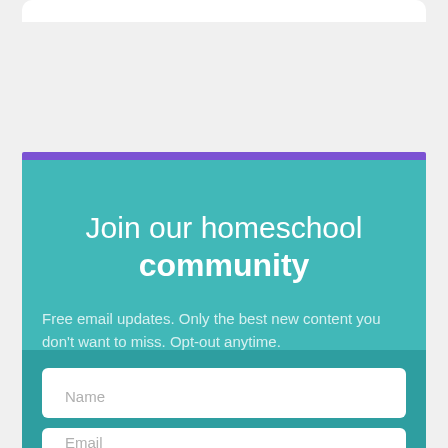Join our homeschool community
Free email updates. Only the best new content you don't want to miss. Opt-out anytime.